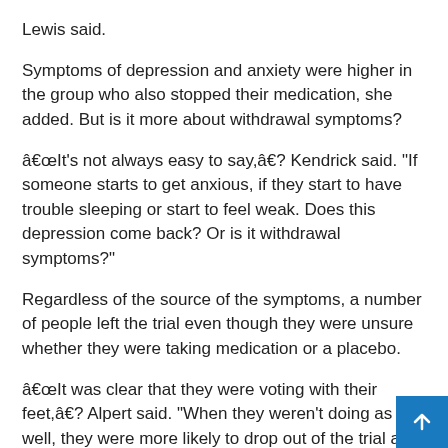Lewis said.
Symptoms of depression and anxiety were higher in the group who also stopped their medication, she added. But is it more about withdrawal symptoms?
“It’s not always easy to say,” Kendrick said. “If someone starts to get anxious, if they start to have trouble sleeping or start to feel weak. Does this depression come back? Or is it withdrawal symptoms?”
Regardless of the source of the symptoms, a number of people left the trial even though they were unsure whether they were taking medication or a placebo.
“It was clear that they were voting with their feet,” Alpert said. “When they weren’t doing as well, they were more likely to drop out of the trial and more likely to go back to the medication.”